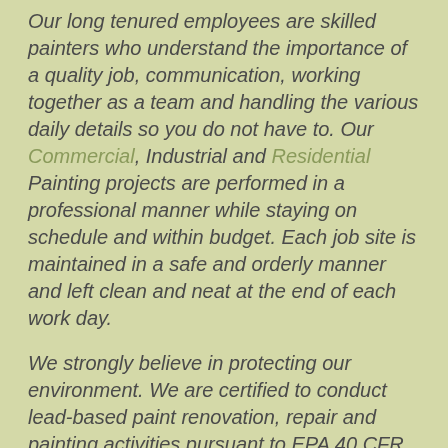Our long tenured employees are skilled painters who understand the importance of a quality job, communication, working together as a team and handling the various daily details so you do not have to. Our Commercial, Industrial and Residential Painting projects are performed in a professional manner while staying on schedule and within budget. Each job site is maintained in a safe and orderly manner and left clean and neat at the end of each work day.
We strongly believe in protecting our environment. We are certified to conduct lead-based paint renovation, repair and painting activities pursuant to EPA 40 CFR Part 745.89. Each painting project is undertaken in an environmentally responsible manner. San Francisco Bay Area Painting Contractor.